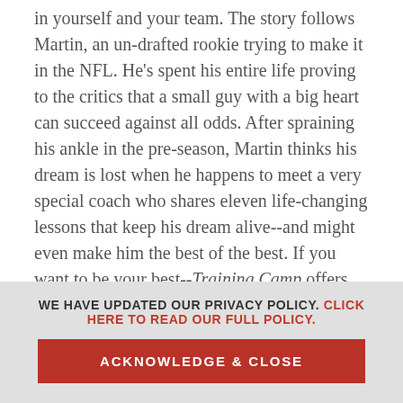in yourself and your team. The story follows Martin, an un-drafted rookie trying to make it in the NFL. He's spent his entire life proving to the critics that a small guy with a big heart can succeed against all odds. After spraining his ankle in the pre-season, Martin thinks his dream is lost when he happens to meet a very special coach who shares eleven life-changing lessons that keep his dream alive--and might even make him the best of the best. If you want to be your best--Training Camp offers an inspirational story and real-world wisdom on what it takes to reach true excellence and how you and your team (your work team, school team, church team and family team) can achieve it.
WE HAVE UPDATED OUR PRIVACY POLICY. CLICK HERE TO READ OUR FULL POLICY.
ACKNOWLEDGE & CLOSE